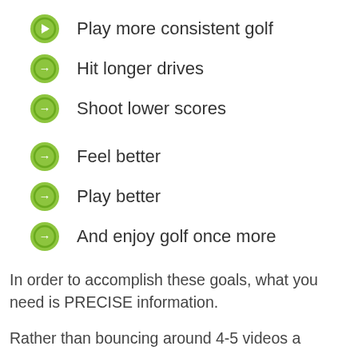Play more consistent golf
Hit longer drives
Shoot lower scores
Feel better
Play better
And enjoy golf once more
In order to accomplish these goals, what you need is PRECISE information.
Rather than bouncing around 4-5 videos a